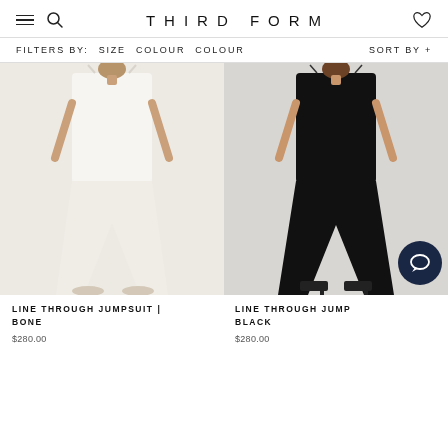THIRD FORM
FILTERS BY:  SIZE  COLOUR  COLOUR    SORT BY +
[Figure (photo): Two product photos side by side: left shows a woman in a white/bone spaghetti-strap wide-leg jumpsuit on a light background; right shows a woman in a black spaghetti-strap wide-leg jumpsuit on a light background.]
LINE THROUGH JUMPSUIT | BONE
$280.00
LINE THROUGH JUMPSUIT | BLACK
$280.00